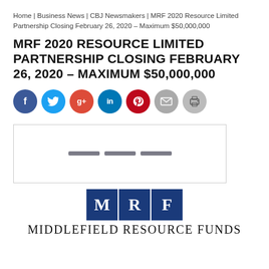Home | Business News | CBJ Newsmakers | MRF 2020 Resource Limited Partnership Closing February 26, 2020 – Maximum $50,000,000
MRF 2020 RESOURCE LIMITED PARTNERSHIP CLOSING FEBRUARY 26, 2020 – MAXIMUM $50,000,000
[Figure (infographic): Row of social media share buttons: Facebook (blue), Twitter (light blue), Google+ (red), LinkedIn (dark blue), Pinterest (dark red), Email (gray), Print (gray)]
[Figure (other): Advertisement placeholder box with three horizontal dark lines centered inside]
[Figure (logo): Middlefield Resource Funds logo: three dark blue squares with white letters M, R, F, followed by text 'MIDDLEFIELD RESOURCE FUNDS' in serif font]